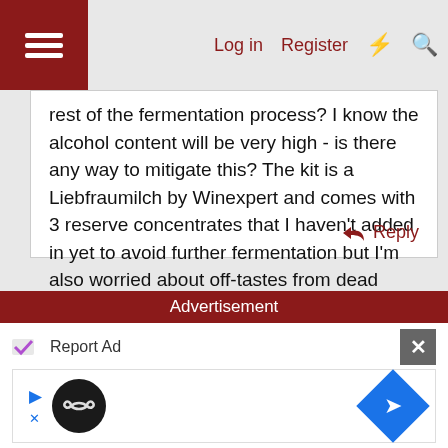Log in  Register
rest of the fermentation process? I know the alcohol content will be very high - is there any way to mitigate this? The kit is a Liebfraumilch by Winexpert and comes with 3 reserve concentrates that I haven't added in yet to avoid further fermentation but I'm also worried about off-tastes from dead yeast. Any help is appreciated!

Thanks,
V
Reply
Advertisement
Report Ad